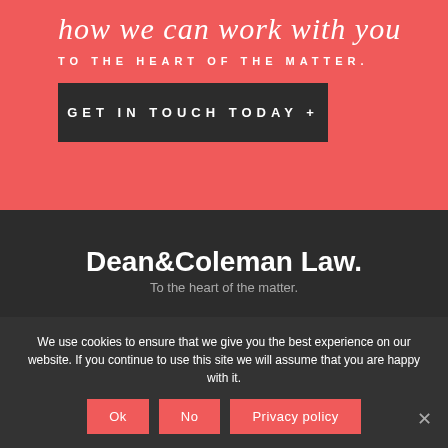how we can work with you
TO THE HEART OF THE MATTER.
GET IN TOUCH TODAY +
[Figure (logo): Dean & Coleman Law. To the heart of the matter. White text logo on dark background.]
We use cookies to ensure that we give you the best experience on our website. If you continue to use this site we will assume that you are happy with it.
Ok  No  Privacy policy